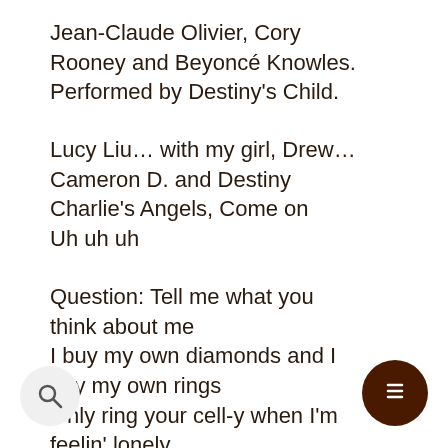Jean-Claude Olivier, Cory Rooney and Beyoncé Knowles. Performed by Destiny's Child.
Lucy Liu… with my girl, Drew… Cameron D. and Destiny Charlie's Angels, Come on Uh uh uh
Question: Tell me what you think about me I buy my own diamonds and I buy my own rings Only ring your cell-y when I'm feelin' lonely When it's all over please, get